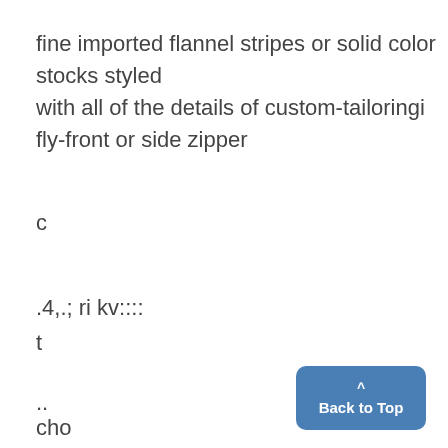fine imported flannel stripes or solid color stocks styled with all of the details of custom-tailoringi fly-front or side zipper
c
.4,.; ri kv::::
t
..
cho